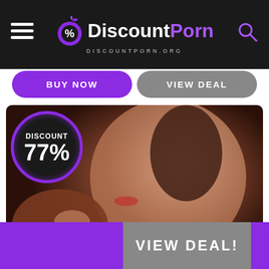DiscountPorn DISCOUNTPORN.ORG
BUY NOW
VIEW DEAL
[Figure (photo): Website screenshot showing a discount porn site with DISCOUNT 77% badge on a photo, BUY NOW and VIEW DEAL buttons, and VIEW DEAL! banner at the bottom]
VIEW DEAL!